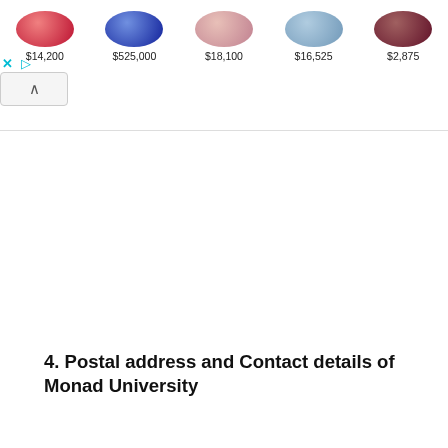[Figure (photo): Advertisement banner showing gemstones with prices: $14,200, $525,000, $18,100, $16,525, $2,875. Contains close and play controls and a collapse button.]
4. Postal address and Contact details of Monad University